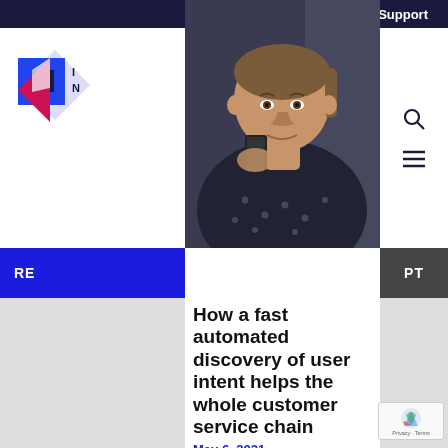Support
[Figure (photo): Woman holding a smartphone up to her mouth speaking into it, wearing a dark polka-dot shirt, photographed indoors.]
RE... PT
How a fast automated discovery of user intent helps the whole customer service chain
May 6, 2021
If you read literature about customer support, especially as it relates with self-service support, you frequently find the expression “user intent”. But what is a user intent? We define it as the objective that a consumer wants to achieve when performing a search